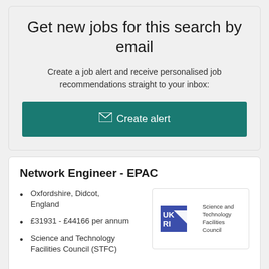Get new jobs for this search by email
Create a job alert and receive personalised job recommendations straight to your inbox:
Create alert
Network Engineer - EPAC
Oxfordshire, Didcot, England
£31931 - £44166 per annum
Science and Technology Facilities Council (STFC)
[Figure (logo): UKRI Science and Technology Facilities Council logo — purple/blue square logo with UKRI text and triangle graphic, alongside text 'Science and Technology Facilities Council']